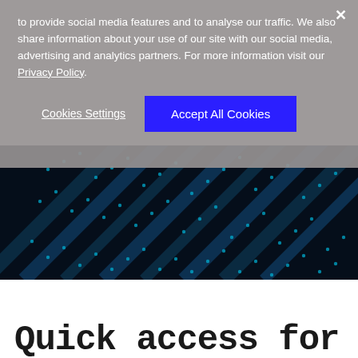to provide social media features and to analyse our traffic. We also share information about your use of our site with our social media, advertising and analytics partners. For more information visit our Privacy Policy.
Cookies Settings
Accept All Cookies
[Figure (photo): Dark background with blue glowing dots and lines arranged in diagonal patterns, resembling a circuit board or digital network.]
Quick access for